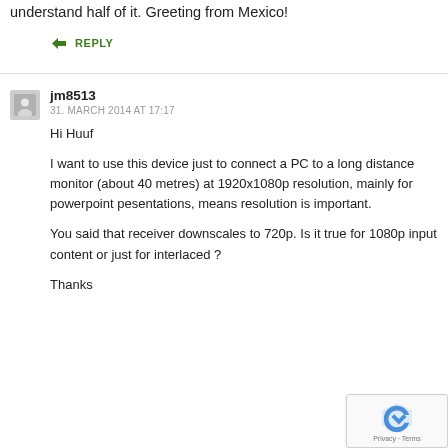understand half of it. Greeting from Mexico!
↳ REPLY
jm8513
31. MARCH 2014 AT 17:17
Hi Huuf

I want to use this device just to connect a PC to a long distance monitor (about 40 metres) at 1920x1080p resolution, mainly for powerpoint pesentations, means resolution is important.

You said that receiver downscales to 720p. Is it true for 1080p input content or just for interlaced ?

Thanks